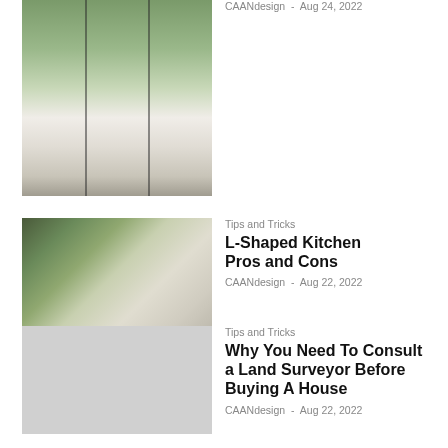[Figure (photo): Window with grid panes looking out to green trees and garden]
CAANdesign - Aug 24, 2022
[Figure (photo): L-shaped kitchen with dark window frames, green outdoor view, white cabinets and countertops]
Tips and Tricks
L-Shaped Kitchen Pros and Cons
CAANdesign - Aug 22, 2022
Tips and Tricks
Why You Need To Consult a Land Surveyor Before Buying A House
CAANdesign - Aug 22, 2022